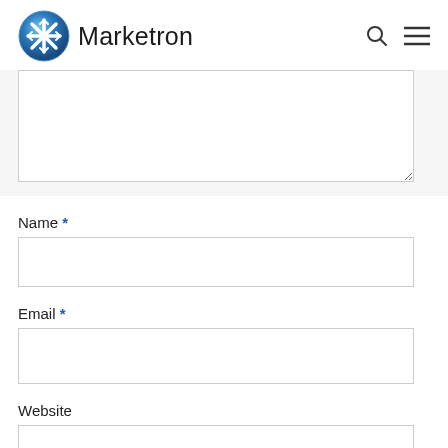[Figure (logo): Marketron logo: blue circular snowflake/star icon with the text 'Marketron' in dark gray]
Name *
Email *
Website